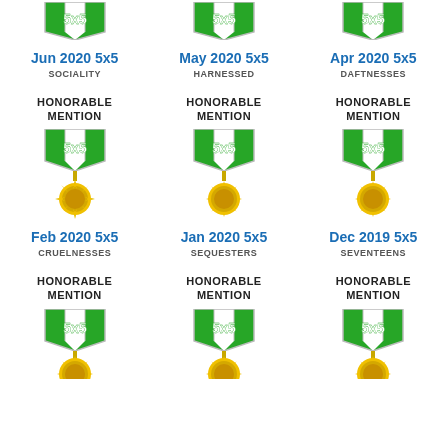[Figure (illustration): Three 5x5 puzzle honorable mention medals (top row, partially cropped) for Jun 2020, May 2020, Apr 2020]
Jun 2020 5x5
SOCIALITY
May 2020 5x5
HARNESSED
Apr 2020 5x5
DAFTNESSES
HONORABLE MENTION
HONORABLE MENTION
HONORABLE MENTION
[Figure (illustration): Three 5x5 puzzle honorable mention medals (second row) for Feb 2020, Jan 2020, Dec 2019]
Feb 2020 5x5
CRUELNESSES
Jan 2020 5x5
SEQUESTERS
Dec 2019 5x5
SEVENTEENS
HONORABLE MENTION
HONORABLE MENTION
HONORABLE MENTION
[Figure (illustration): Three 5x5 puzzle honorable mention medals (bottom row, partially cropped)]